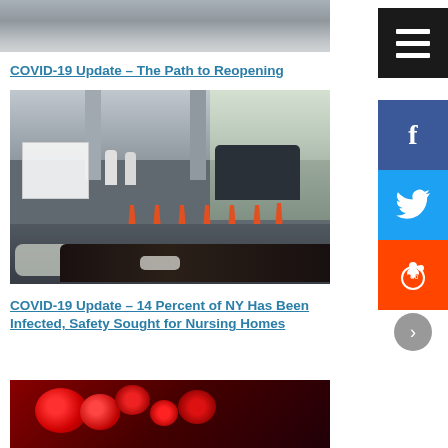[Figure (photo): Top portion of a dark/grey photo, partially cropped at top of page]
COVID-19 Update – The Path to Reopening
[Figure (photo): Drive-through COVID-19 testing site under a parking structure with orange traffic cones, workers in PPE white suits, tents, and an SUV. Foreground shows a face mask on a car dashboard.]
COVID-19 Update – 14 Percent of NY Has Been Infected, Safety Sought for Nursing Homes
[Figure (photo): Bottom cropped photo showing red virus/coronavirus model or red flowers on dark background]